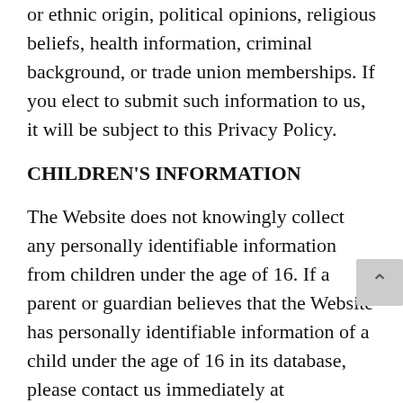or ethnic origin, political opinions, religious beliefs, health information, criminal background, or trade union memberships. If you elect to submit such information to us, it will be subject to this Privacy Policy.
CHILDREN'S INFORMATION
The Website does not knowingly collect any personally identifiable information from children under the age of 16. If a parent or guardian believes that the Website has personally identifiable information of a child under the age of 16 in its database, please contact us immediately at support@doyourthing.biz and we will use our best efforts to promptly remove such information from our records.